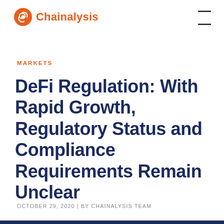Chainalysis
MARKETS
DeFi Regulation: With Rapid Growth, Regulatory Status and Compliance Requirements Remain Unclear
OCTOBER 29, 2020 | BY CHAINALYSIS TEAM